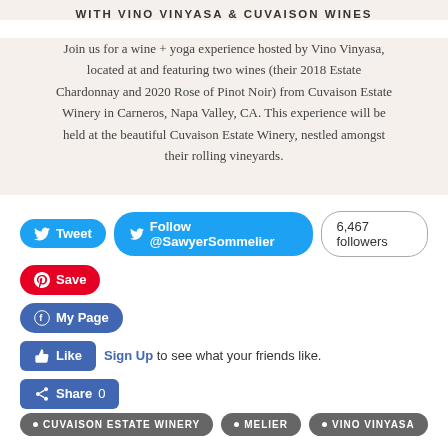WITH VINO VINYASA & CUVAISON WINES
Join us for a wine + yoga experience hosted by Vino Vinyasa, located at and featuring two wines (their 2018 Estate Chardonnay and 2020 Rose of Pinot Noir) from Cuvaison Estate Winery in Carneros, Napa Valley, CA. This experience will be held at the beautiful Cuvaison Estate Winery, nestled amongst their rolling vineyards.
[Figure (screenshot): Social media sharing buttons: Tweet button, Follow @SawyerSommelier button with 6,467 followers count, Pinterest Save button, Facebook My Page button, Facebook Like button with Sign Up link, Facebook Share 0 button]
CUVAISON ESTATE WINERY
MELIER
VINO VINYASA